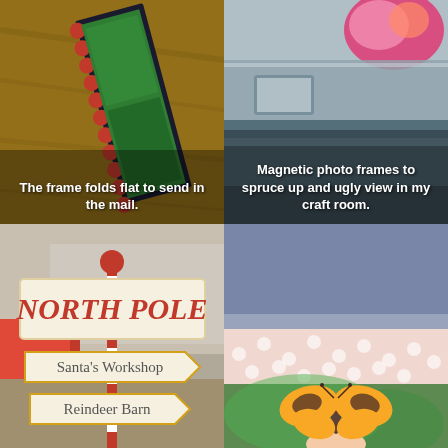[Figure (photo): Close-up of a decorative picture frame with red scalloped edges on a wooden surface, tilted at an angle. Caption reads: The frame folds flat to send in the mail.]
[Figure (photo): Magnetic photo frames on a metallic surface in a craft room. A colourful item visible at top. Caption reads: Magnetic photo frames to spruce up and ugly view in my craft room.]
[Figure (photo): North Pole directional sign with Santa's Workshop and Reindeer Barn signs below it, set in a decorated indoor space with red tablecloths.]
[Figure (photo): Bottom half shows a butterfly with yellow and black markings resting on a finger. Top portion shows blue-gray and pink polka-dot paper/fabric layers.]